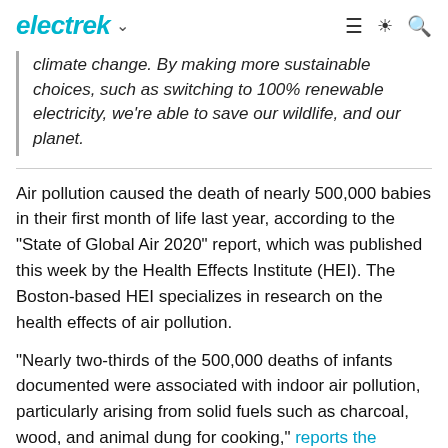electrek
climate change. By making more sustainable choices, such as switching to 100% renewable electricity, we're able to save our wildlife, and our planet.
Air pollution caused the death of nearly 500,000 babies in their first month of life last year, according to the "State of Global Air 2020" report, which was published this week by the Health Effects Institute (HEI). The Boston-based HEI specializes in research on the health effects of air pollution.
"Nearly two-thirds of the 500,000 deaths of infants documented were associated with indoor air pollution, particularly arising from solid fuels such as charcoal, wood, and animal dung for cooking," reports the Guardian. Nearly 90% of those deaths occurred in South Asia and sub-Saharan Africa.